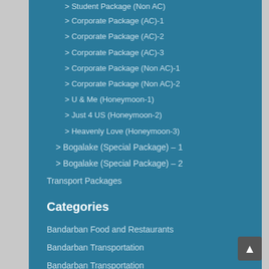> Student Package (Non AC)
> Corporate Package (AC)-1
> Corporate Package (AC)-2
> Corporate Package (AC)-3
> Corporate Package (Non AC)-1
> Corporate Package (Non AC)-2
> U & Me (Honeymoon-1)
> Just 4 US (Honeymoon-2)
> Heavenly Love (Honeymoon-3)
> Bogalake (Special Package) – 1
> Bogalake (Special Package) – 2
Transport Packages
Categories
Bandarban Food and Restaurants
Bandarban Transportation
Bandarban Transportation
History & People
Hotels & Resorts